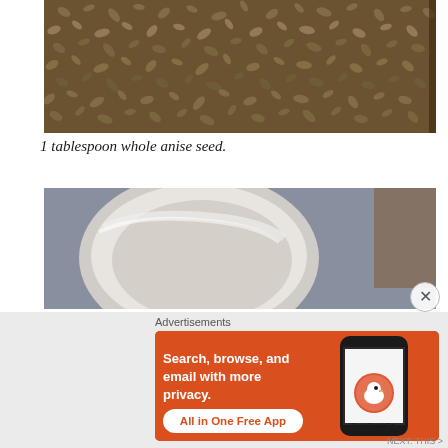[Figure (photo): Close-up photo of whole anise seeds spread out, brown/tan colored seeds on dark background]
1 tablespoon whole anise seed.
[Figure (photo): Close-up photo of a white ceramic cup or mug from above, appearing to contain a light-colored liquid, on a blueish surface]
Advertisements
[Figure (screenshot): DuckDuckGo advertisement banner with orange background. Text reads: Search, browse, and email with more privacy. All in One Free App. Shows a phone with DuckDuckGo app and DuckDuckGo logo/duck icon.]